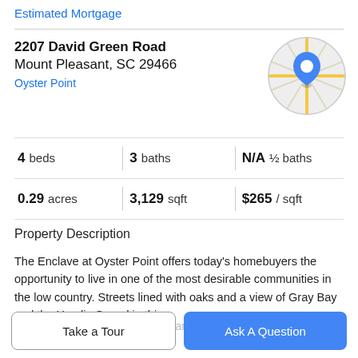Estimated Mortgage
2207 David Green Road
Mount Pleasant, SC 29466
Oyster Point
[Figure (map): Circular map thumbnail with a blue location pin marker over street map of the area]
4 beds | 3 baths | N/A ½ baths
0.29 acres | 3,129 sqft | $265 / sqft
Property Description
The Enclave at Oyster Point offers today's homebuyers the opportunity to live in one of the most desirable communities in the low country. Streets lined with oaks and a view of Gray Bay and the Hamlin Sound in this
amenity-rich community provide an oasis minutes from
Take a Tour
Ask A Question